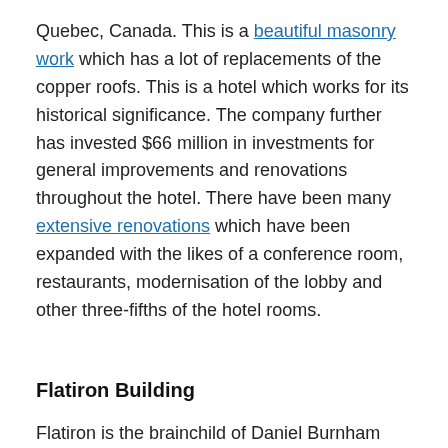Quebec, Canada. This is a beautiful masonry work which has a lot of replacements of the copper roofs. This is a hotel which works for its historical significance. The company further has invested $66 million in investments for general improvements and renovations throughout the hotel. There have been many extensive renovations which have been expanded with the likes of a conference room, restaurants, modernisation of the lobby and other three-fifths of the hotel rooms.
Flatiron Building
Flatiron is the brainchild of Daniel Burnham build in 1902. The purpose of this building was to serve as an office building. This place is still in use, and there are many pans of turning the office into a luxury hotel. These